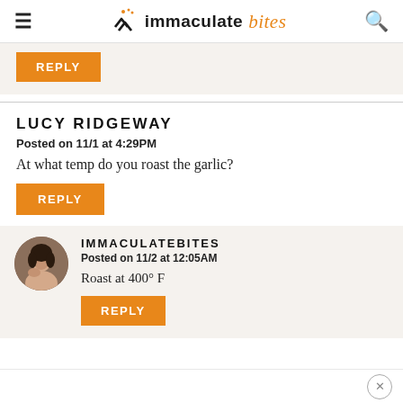immaculate bites
REPLY
LUCY RIDGEWAY
Posted on 11/1 at 4:29PM
At what temp do you roast the garlic?
REPLY
IMMACULATEBITES
Posted on 11/2 at 12:05AM
Roast at 400° F
REPLY